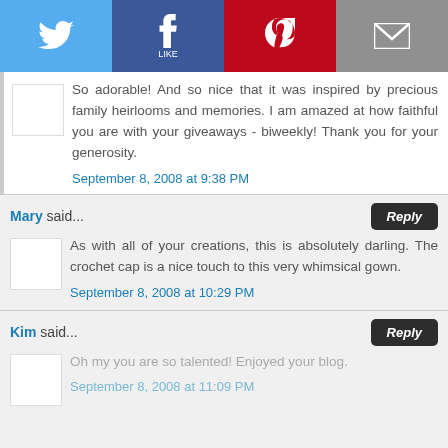[Figure (other): Social share bar with Twitter, Facebook, Pinterest, and Email buttons]
So adorable! And so nice that it was inspired by precious family heirlooms and memories. I am amazed at how faithful you are with your giveaways - biweekly! Thank you for your generosity.
September 8, 2008 at 9:38 PM
Mary said...
As with all of your creations, this is absolutely darling. The crochet cap is a nice touch to this very whimsical gown.
September 8, 2008 at 10:29 PM
Kim said...
Oh my you are so talented! Enjoyed your blog.
September 8, 2008 at 11:09 PM